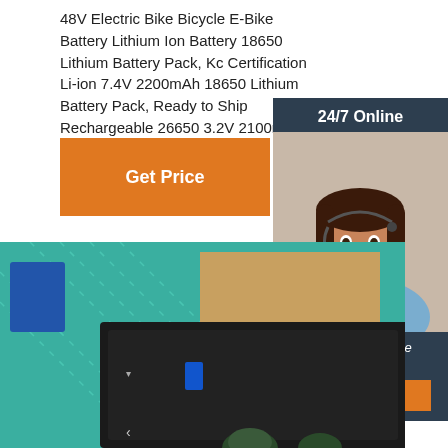48V Electric Bike Bicycle E-Bike Battery Lithium Ion Battery 18650 Lithium Battery Pack, Kc Certification Li-ion 7.4V 2200mAh 18650 Lithium Battery Pack, Ready to Ship Rechargeable 26650 3.2V 2100mAh LiFePO4 Battery and so on.
[Figure (other): Orange 'Get Price' button]
[Figure (infographic): 24/7 Online sidebar with a customer service representative photo, 'Click here for free chat!' text, and an orange QUOTATION button on a dark navy background]
[Figure (photo): Product photo showing a large black battery pack/box on a teal/green background with cardboard packaging visible]